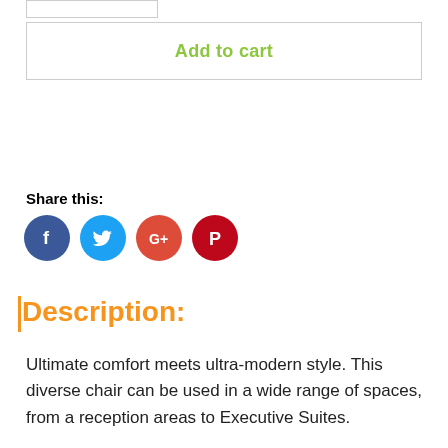Add to cart
Share this:
[Figure (other): Four social media icon circles: Facebook (dark blue, f), Twitter (light blue, bird), Google+ (red-orange, G+), Pinterest (dark red, P)]
Description:
Ultimate comfort meets ultra-modern style. This diverse chair can be used in a wide range of spaces, from a reception areas to Executive Suites.